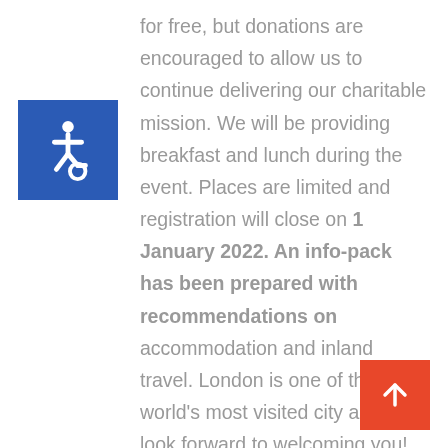[Figure (illustration): Blue square with white wheelchair accessibility icon]
for free, but donations are encouraged to allow us to continue delivering our charitable mission. We will be providing breakfast and lunch during the event. Places are limited and registration will close on 1 January 2022. An info-pack has been prepared with recommendations on accommodation and inland travel. London is one of the world's most visited city and we look forward to welcoming you! Delegates who attend the event will receive a Continuous Professional Development (CPD) certificate. For the CPD certification, registration and full attendance are mandatory. Certificates
[Figure (illustration): Red square button with white upward arrow]